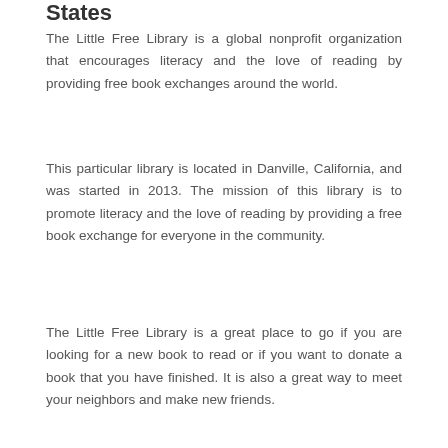States
The Little Free Library is a global nonprofit organization that encourages literacy and the love of reading by providing free book exchanges around the world.
This particular library is located in Danville, California, and was started in 2013. The mission of this library is to promote literacy and the love of reading by providing a free book exchange for everyone in the community.
The Little Free Library is a great place to go if you are looking for a new book to read or if you want to donate a book that you have finished. It is also a great way to meet your neighbors and make new friends.